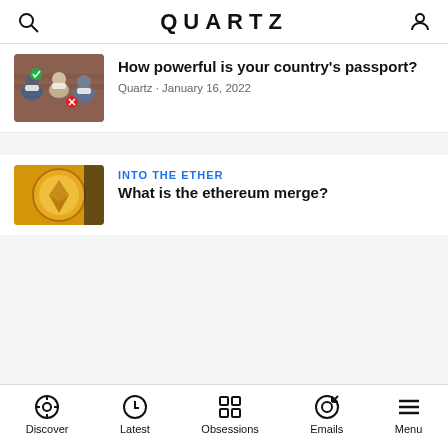QUARTZ
[Figure (photo): Thumbnail image of people wearing masks in what appears to be an auditorium or parliament, with green checkmarks and red X overlays]
How powerful is your country's passport?
Quartz · January 16, 2022
INTO THE ETHER
[Figure (photo): Thumbnail image of a gold/orange circular coin or token, partially cropped]
What is the ethereum merge?
Discover  Latest  Obsessions  Emails  Menu